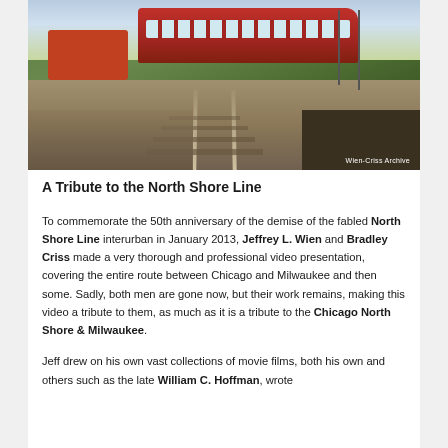[Figure (photo): A photograph of a red North Shore Line interurban train on tracks, with a red truck visible on the left, green grass and utility poles in the background, and railroad ties/gravel in the foreground. A watermark reads 'Wien-Criss Archive' in the bottom right corner.]
A Tribute to the North Shore Line
To commemorate the 50th anniversary of the demise of the fabled North Shore Line interurban in January 2013, Jeffrey L. Wien and Bradley Criss made a very thorough and professional video presentation, covering the entire route between Chicago and Milwaukee and then some. Sadly, both men are gone now, but their work remains, making this video a tribute to them, as much as it is a tribute to the Chicago North Shore & Milwaukee.
Jeff drew on his own vast collections of movie films, both his own and others such as the late William C. Hoffman, wrote